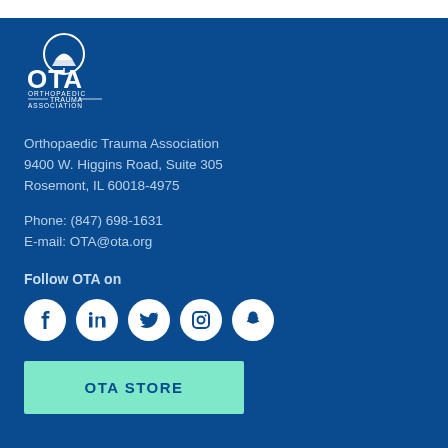[Figure (logo): OTA Orthopaedic Trauma Association white logo on dark blue background]
Orthopaedic Trauma Association
9400 W. Higgins Road, Suite 305
Rosemont, IL 60018-4975
Phone: (847) 698-1631
E-mail: OTA@ota.org
Follow OTA on
[Figure (infographic): Row of five social media icons: Facebook, LinkedIn, Twitter, Instagram, Snapchat]
OTA STORE